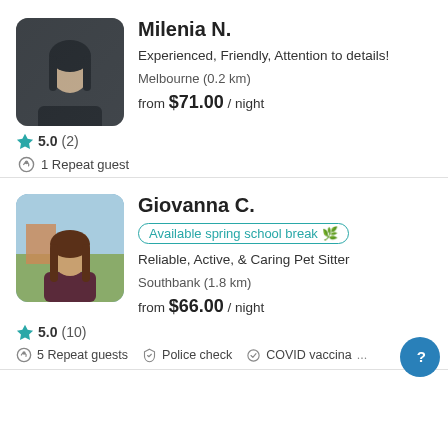[Figure (photo): Profile photo of Milenia N., a young woman with long dark hair wearing a black jacket, indoors]
Milenia N.
Experienced, Friendly, Attention to details!
Melbourne (0.2 km)
from $71.00 / night
5.0 (2)
1 Repeat guest
[Figure (photo): Profile photo of Giovanna C., a young woman with long brown hair, outdoors with a scenic background]
Giovanna C.
Available spring school break
Reliable, Active, & Caring Pet Sitter
Southbank (1.8 km)
from $66.00 / night
5.0 (10)
5 Repeat guests   Police check   COVID vaccina...